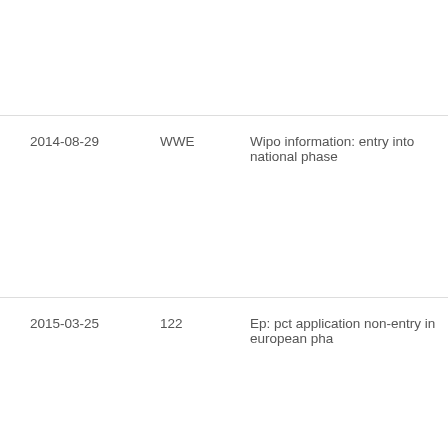| Date | Code | Description |
| --- | --- | --- |
| 2014-08-29 | WWE | Wipo information: entry into national phase |
| 2015-03-25 | 122 | Ep: pct application non-entry in european pha |